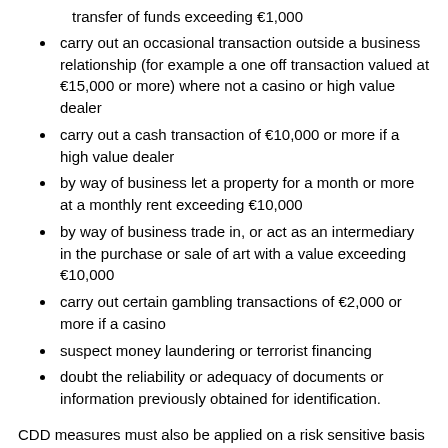transfer of funds exceeding €1,000
carry out an occasional transaction outside a business relationship (for example a one off transaction valued at €15,000 or more) where not a casino or high value dealer
carry out a cash transaction of €10,000 or more if a high value dealer
by way of business let a property for a month or more at a monthly rent exceeding €10,000
by way of business trade in, or act as an intermediary in the purchase or sale of art with a value exceeding €10,000
carry out certain gambling transactions of €2,000 or more if a casino
suspect money laundering or terrorist financing
doubt the reliability or adequacy of documents or information previously obtained for identification.
CDD measures must also be applied on a risk sensitive basis at other times to existing customers. This could include when